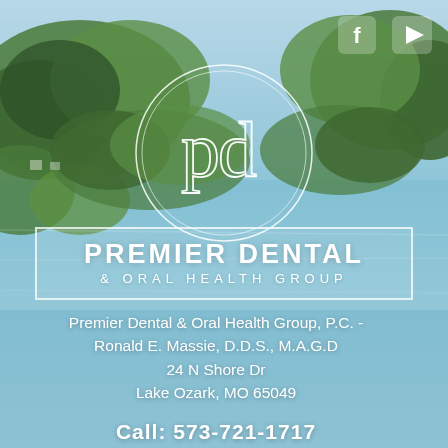[Figure (logo): Premier Dental & Oral Health Group logo — circular 'pd' monogram in white with double ring outline, set over aerial lake/island background photo]
PREMIER DENTAL
& ORAL HEALTH GROUP
Premier Dental & Oral Health Group, P.C. -
Ronald E. Massie, D.D.S., M.A.G.D
24 N Shore Dr
Lake Ozark, MO 65049
Call: 573-721-1717